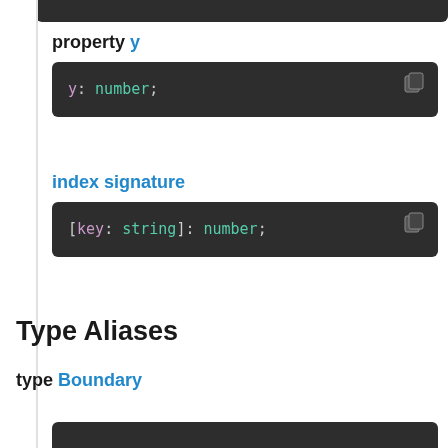property y
[Figure (screenshot): Dark code block showing: y: number;]
index signature
[Figure (screenshot): Dark code block showing: [key: string]: number;]
Type Aliases
type Boundary
[Figure (screenshot): Dark code block at bottom of page (partial)]